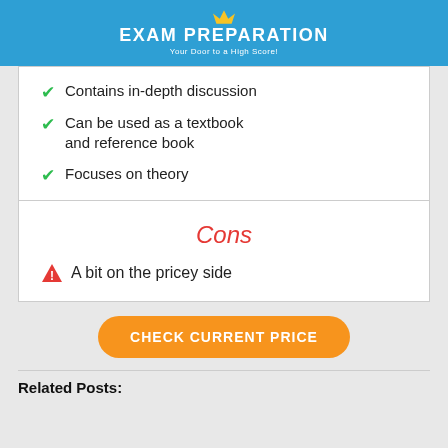EXAM PREPARATION — Your Door to a High Score!
Contains in-depth discussion
Can be used as a textbook and reference book
Focuses on theory
Cons
A bit on the pricey side
CHECK CURRENT PRICE
Related Posts: